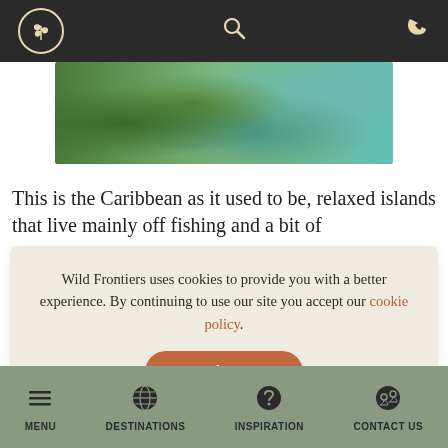[Figure (logo): Wild Frontiers logo — circular emblem with tree/plant symbol in cream on dark background, plus search icon and phone icon]
[Figure (photo): Tropical Caribbean landscape with lush green vegetation and turquoise water]
This is the Caribbean as it used to be, relaxed islands that live mainly off fishing and a bit of
Wild Frontiers uses cookies to provide you with a better experience. By continuing to use our site you accept our cookie policy.
[Figure (screenshot): Bottom navigation bar with Menu, Destinations, Inspiration, Contact Us icons on sage green background]